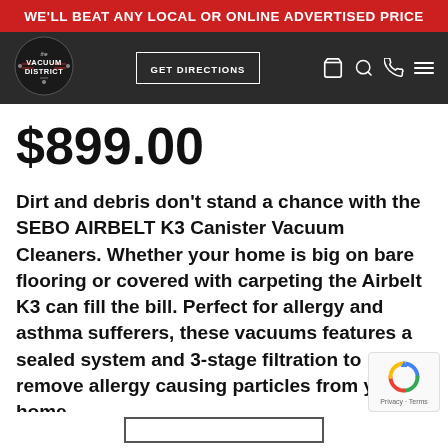WE'LL BEAT ANY LOCAL OR ONLINE ADVERTISED PRICE
[Figure (logo): The Vacuum District logo — circular emblem with 'THE VACUUM DISTRICT' text and a central icon on dark background]
$899.00
Dirt and debris don't stand a chance with the SEBO AIRBELT K3 Canister Vacuum Cleaners. Whether your home is big on bare flooring or covered with carpeting the Airbelt K3 can fill the bill. Perfect for allergy and asthma sufferers, these vacuums features a sealed system and 3-stage filtration to remove allergy causing particles from your home
[Figure (logo): Google reCAPTCHA badge with spinning arrow logo and 'Privacy · Terms' text]